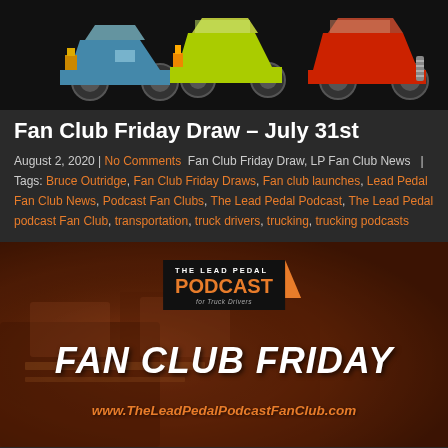[Figure (illustration): Header banner showing colorful illustrated hot rod / custom cars on a black background]
Fan Club Friday Draw – July 31st
August 2, 2020 | No Comments   Fan Club Friday Draw, LP Fan Club News  | Tags: Bruce Outridge, Fan Club Friday Draws, Fan club launches, Lead Pedal Fan Club News, Podcast Fan Clubs, The Lead Pedal Podcast, The Lead Pedal podcast Fan Club, transportation, truck drivers, trucking, trucking podcasts
[Figure (photo): Fan Club Friday promotional image with dark red truck background, The Lead Pedal Podcast logo, large white bold italic text reading FAN CLUB FRIDAY, and orange italic URL www.TheLeadPedalPodcastFanClub.com]